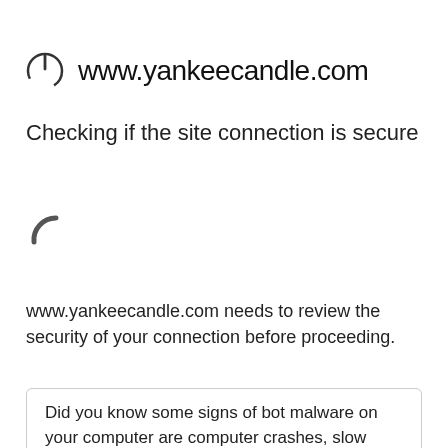www.yankeecandle.com
Checking if the site connection is secure
[Figure (other): Spinning loading arc/spinner icon indicating connection check in progress]
www.yankeecandle.com needs to review the security of your connection before proceeding.
Did you know some signs of bot malware on your computer are computer crashes, slow internet, and a slow computer?